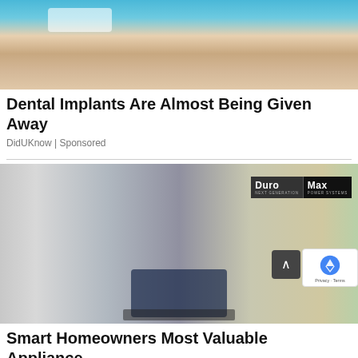[Figure (photo): Close-up of a dental procedure being performed, gloved hands working on a patient's teeth, teal/blue background]
Dental Implants Are Almost Being Given Away
DidUKnow | Sponsored
[Figure (photo): Man connecting a hose to a DuroMax XP13000HX dual-fuel generator outdoors next to a propane tank, with a house in the background. DuroMax Next Generation Power Systems logo visible in upper right.]
Smart Homeowners Most Valuable Appliance